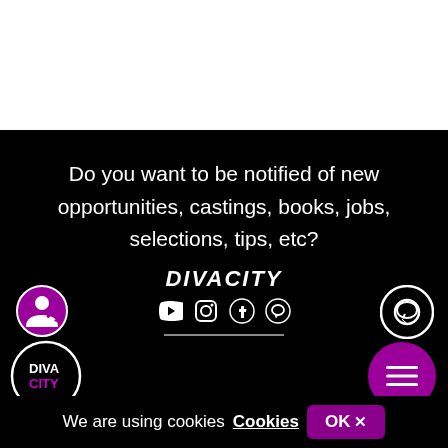[Figure (illustration): White top section of webpage]
Do you want to be notified of new opportunities, castings, books, jobs, selections, tips, etc?
[Figure (logo): DIVACITY logo with social media icons (YouTube, Instagram, Facebook, chat) and circular Diva City logo on left, chat bubble and menu button on right]
We are using cookies Cookies OK ✕